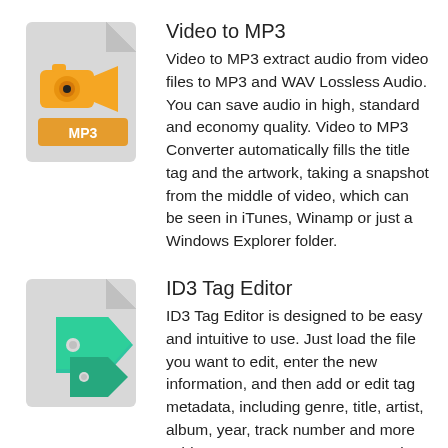[Figure (illustration): Gray document/file icon with orange video camera and MP3 label graphic]
Video to MP3
Video to MP3 extract audio from video files to MP3 and WAV Lossless Audio. You can save audio in high, standard and economy quality. Video to MP3 Converter automatically fills the title tag and the artwork, taking a snapshot from the middle of video, which can be seen in iTunes, Winamp or just a Windows Explorer folder.
[Figure (illustration): Gray document/file icon with green tag/label graphic for ID3 Tag Editor]
ID3 Tag Editor
ID3 Tag Editor is designed to be easy and intuitive to use. Just load the file you want to edit, enter the new information, and then add or edit tag metadata, including genre, title, artist, album, year, track number and more
Add your own comments to a music file,
Edit wav, mp3 and ogg music file